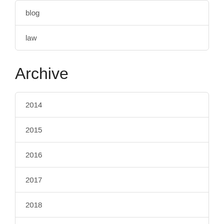blog
law
Archive
2014
2015
2016
2017
2018
2019
2020